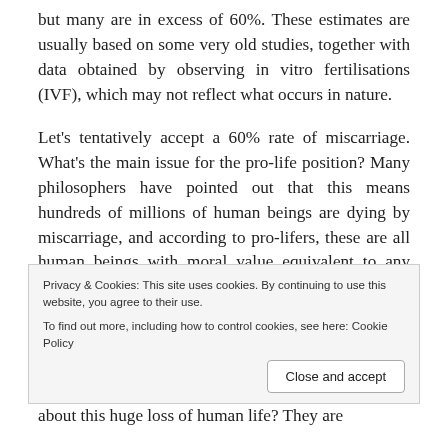but many are in excess of 60%. These estimates are usually based on some very old studies, together with data obtained by observing in vitro fertilisations (IVF), which may not reflect what occurs in nature.
Let's tentatively accept a 60% rate of miscarriage. What's the main issue for the pro-life position? Many philosophers have pointed out that this means hundreds of millions of human beings are dying by miscarriage, and according to pro-lifers, these are all human beings with moral value equivalent to any adult. But these numbers are far
Privacy & Cookies: This site uses cookies. By continuing to use this website, you agree to their use. To find out more, including how to control cookies, see here: Cookie Policy
about this huge loss of human life? They are